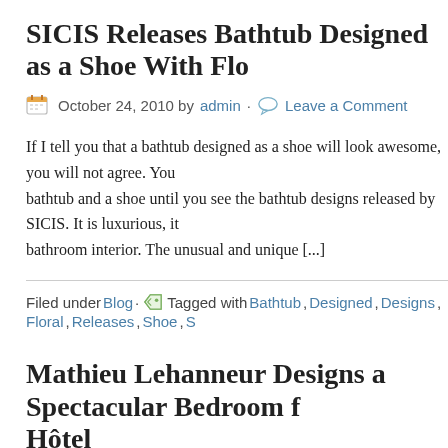SICIS Releases Bathtub Designed as a Shoe With Flo
October 24, 2010 by admin · Leave a Comment
If I tell you that a bathtub designed as a shoe will look awesome, you will not agree. You bathtub and a shoe until you see the bathtub designs released by SICIS. It is luxurious, it bathroom interior. The unusual and unique [...]
Filed under Blog · Tagged with Bathtub, Designed, Designs, Floral, Releases, Shoe, S
Mathieu Lehanneur Designs a Spectacular Bedroom f Hôtel
October 23, 2010 by admin · Leave a Comment
Mathieu Lehanneur is a respected name in the designer community. His latest work is a b work. He has designed a spectacular bedroom for the Veuve Clicquot Hôtel du Marc wh